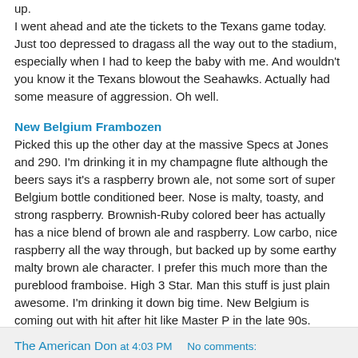up.
I went ahead and ate the tickets to the Texans game today. Just too depressed to dragass all the way out to the stadium, especially when I had to keep the baby with me. And wouldn't you know it the Texans blowout the Seahawks. Actually had some measure of aggression. Oh well.
New Belgium Frambozen
Picked this up the other day at the massive Specs at Jones and 290. I'm drinking it in my champagne flute although the beers says it's a raspberry brown ale, not some sort of super Belgium bottle conditioned beer. Nose is malty, toasty, and strong raspberry. Brownish-Ruby colored beer has actually has a nice blend of brown ale and raspberry. Low carbo, nice raspberry all the way through, but backed up by some earthy malty brown ale character. I prefer this much more than the pureblood framboise. High 3 Star. Man this stuff is just plain awesome. I'm drinking it down big time. New Belgium is coming out with hit after hit like Master P in the late 90s.
The American Don at 4:03 PM    No comments: